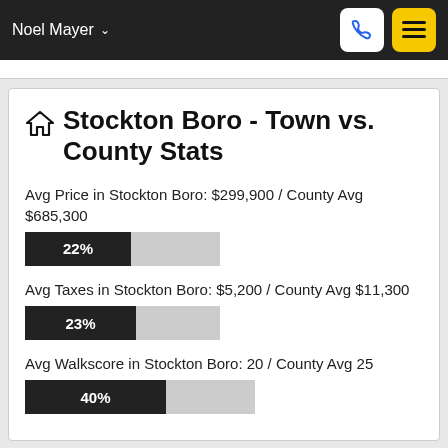Noel Mayer
Stockton Boro - Town vs. County Stats
Avg Price in Stockton Boro: $299,900 / County Avg $685,300
[Figure (bar-chart): Avg Price percentage of county avg]
Avg Taxes in Stockton Boro: $5,200 / County Avg $11,300
[Figure (bar-chart): Avg Taxes percentage of county avg]
Avg Walkscore in Stockton Boro: 20 / County Avg 25
[Figure (bar-chart): Avg Walkscore percentage of county avg]